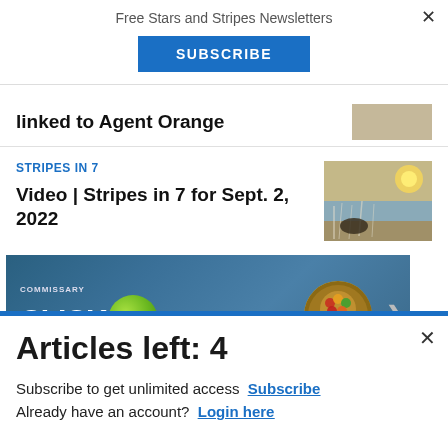Free Stars and Stripes Newsletters
SUBSCRIBE
linked to Agent Orange
STRIPES IN 7
Video | Stripes in 7 for Sept. 2, 2022
[Figure (photo): Commissary Click2Go advertisement banner with logo]
Articles left: 4
Subscribe to get unlimited access Subscribe
Already have an account? Login here